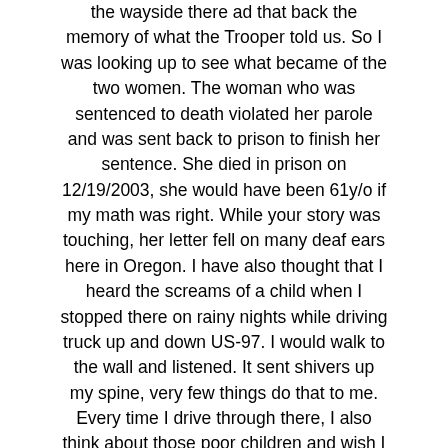the wayside there ad that back the memory of what the Trooper told us. So I was looking up to see what became of the two women. The woman who was sentenced to death violated her parole and was sent back to prison to finish her sentence. She died in prison on 12/19/2003, she would have been 61y/o if my math was right. While your story was touching, her letter fell on many deaf ears here in Oregon. I have also thought that I heard the screams of a child when I stopped there on rainy nights while driving truck up and down US-97. I would walk to the wall and listened. It sent shivers up my spine, very few things do that to me. Every time I drive through there, I also think about those poor children and wish I could have been there to save them. Cannot find anything about the mother. Too many people have died ear that crossing. Shelly Ann. I P